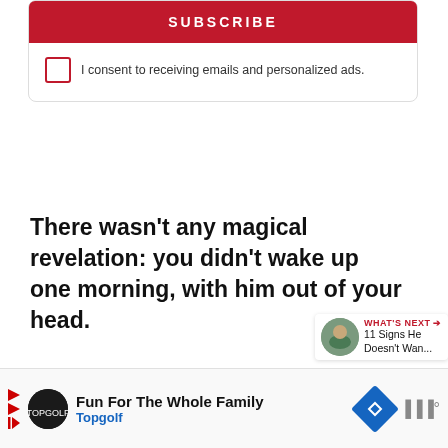[Figure (screenshot): Subscribe button (red background, white text 'SUBSCRIBE') at top of a subscription form box]
I consent to receiving emails and personalized ads.
There wasn’t any magical revelation: you didn’t wake up one morning, with him out of your head.
It wasn’t like in the movies: you didn’t have a moment of clarity in which you realized you were wasting your energy thinking about him and
[Figure (screenshot): WHAT'S NEXT arrow label with thumbnail image and text '11 Signs He Doesn't Wan...']
[Figure (screenshot): Advertisement bar: Fun For The Whole Family - Topgolf]